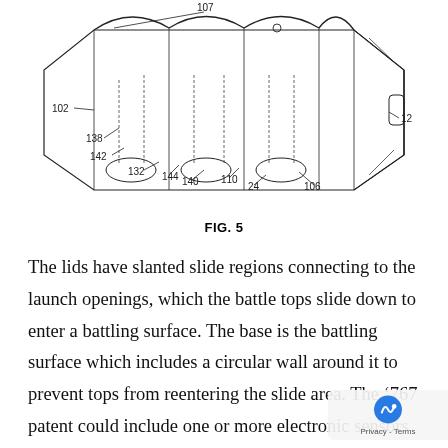[Figure (engineering-diagram): Patent drawing FIG. 5 showing a top-view perspective of a battle tops arena/launcher device with labeled reference numerals: 107, 102, 138, 142, 132, 144, 140, 110, 24, 106, 12]
FIG. 5
The lids have slanted slide regions connecting to the launch openings, which the battle tops slide down to enter a battling surface. The base is the battling surface which includes a circular wall around it to prevent tops from reentering the slide area. The ‘767 patent could include one or more electronic sensors which detect and monitor the spinning tops in the arena and communicate the top activity to a personal electronic device of a user, like a cellphone. This could provide users information through